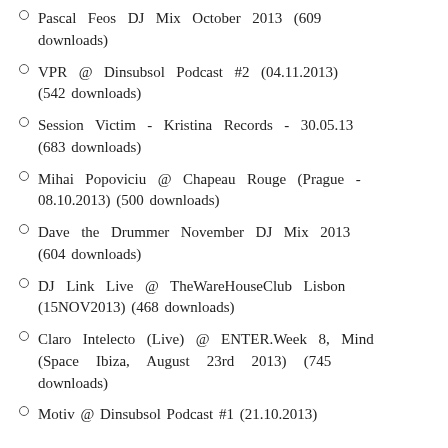Pascal Feos DJ Mix October 2013 (609 downloads)
VPR @ Dinsubsol Podcast #2 (04.11.2013) (542 downloads)
Session Victim - Kristina Records - 30.05.13 (683 downloads)
Mihai Popoviciu @ Chapeau Rouge (Prague - 08.10.2013) (500 downloads)
Dave the Drummer November DJ Mix 2013 (604 downloads)
DJ Link Live @ TheWareHouseClub Lisbon (15NOV2013) (468 downloads)
Claro Intelecto (Live) @ ENTER.Week 8, Mind (Space Ibiza, August 23rd 2013) (745 downloads)
Motiv @ Dinsubsol Podcast #1 (21.10.2013)